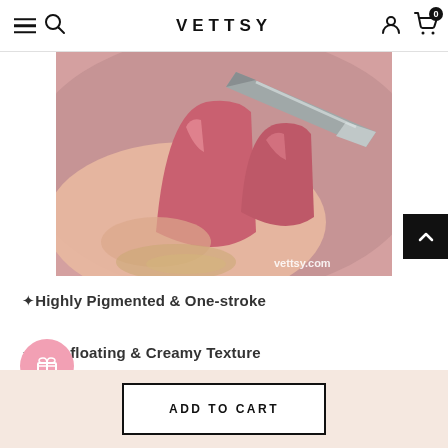VETTSY
[Figure (photo): Close-up photo of manicured nails painted in dusty rose/pink color being worked on with a nail tool. The nails are glossy and squared/coffin shaped. Watermark reads vettsy.com in bottom right corner.]
✦Highly Pigmented & One-stroke
✦Non-floating & Creamy Texture
ADD TO CART